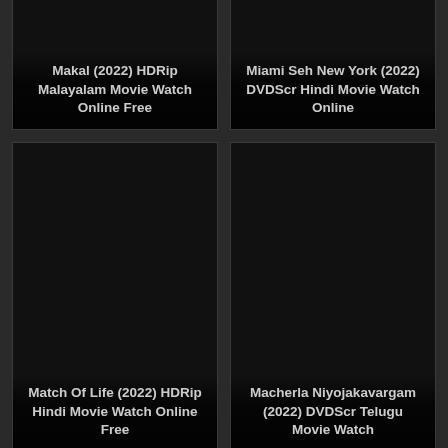[Figure (screenshot): Movie thumbnail card - dark/black image with title overlay at bottom: Makal (2022) HDRip Malayalam Movie Watch Online Free]
[Figure (screenshot): Movie thumbnail card - dark/black image with title overlay at bottom: Miami Seh New York (2022) DVDScr Hindi Movie Watch Online]
[Figure (screenshot): Movie thumbnail card - dark/black image with title overlay at bottom: Match Of Life (2022) HDRip Hindi Movie Watch Online Free]
[Figure (screenshot): Movie thumbnail card - dark/black image with title overlay at bottom: Macherla Niyojakavargam (2022) DVDScr Telugu Movie Watch]
[Figure (screenshot): Movie thumbnail card - dark/black image, partial, no visible title text]
[Figure (screenshot): Movie thumbnail card - dark/black image, partial, no visible title text]